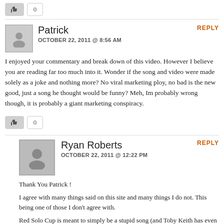[Figure (other): Like button with count 0]
Patrick
OCTOBER 22, 2011 @ 8:56 AM
REPLY
I enjoyed your commentary and break down of this video. However I believe you are reading far too much into it. Wonder if the song and video were made solely as a joke and nothing more? No viral marketing ploy, no bad is the new good, just a song he thought would be funny? Meh, Im probably wrong though, it is probably a giant marketing conspiracy.
[Figure (other): Like button with count 0]
Ryan Roberts
OCTOBER 22, 2011 @ 12:22 PM
REPLY
Thank You Patrick !
I agree with many things said on this site and many things I do not. This being one of those I don't agree with.
Red Solo Cup is meant to simply be a stupid song (and Toby Keith has even said it himself!) nothing more. No